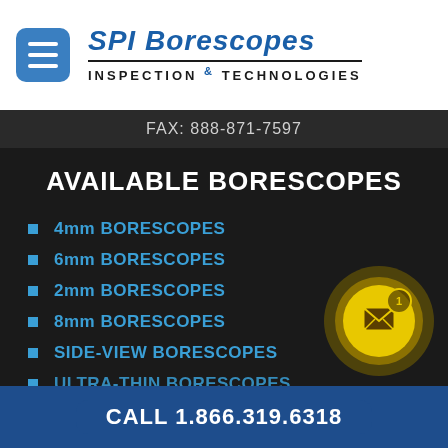[Figure (logo): SPI Borescopes Inspection & Technologies logo with hamburger menu button]
FAX: 888-871-7597
AVAILABLE BORESCOPES
4mm BORESCOPES
6mm BORESCOPES
2mm BORESCOPES
8mm BORESCOPES
SIDE-VIEW BORESCOPES
ULTRA-THIN BORESCOPES
CALL 1.866.319.6318